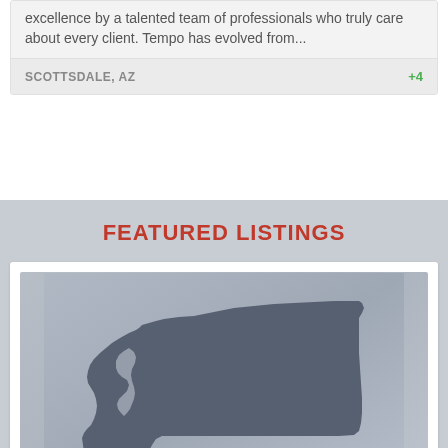excellence by a talented team of professionals who truly care about every client. Tempo has evolved from...
SCOTTSDALE, AZ
+4
FEATURED LISTINGS
[Figure (map): Silhouette map of the state of Washington, shown in dark slate gray against a lighter gray gradient background.]